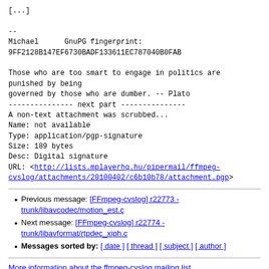[...]

--
Michael      GnuPG fingerprint:
9FF2128B147EF6730BADF133611EC787040B0FAB

Those who are too smart to engage in politics are
punished by being
governed by those who are dumber. -- Plato
--------------- next part ---------------
A non-text attachment was scrubbed...
Name: not available
Type: application/pgp-signature
Size: 189 bytes
Desc: Digital signature
URL: <http://lists.mplayerhq.hu/pipermail/ffmpeg-cvslog/attachments/20100402/c6b10b78/attachment.pgp>
Previous message: [FFmpeg-cvslog] r22773 - trunk/libavcodec/motion_est.c
Next message: [FFmpeg-cvslog] r22774 - trunk/libavformat/rtpdec_xiph.c
Messages sorted by: [ date ] [ thread ] [ subject ] [ author ]
More information about the ffmpeg-cvslog mailing list